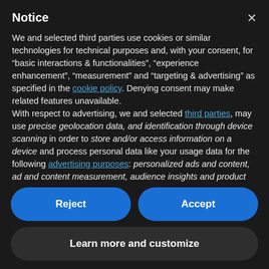Notice
We and selected third parties use cookies or similar technologies for technical purposes and, with your consent, for “basic interactions & functionalities”, “experience enhancement”, “measurement” and “targeting & advertising” as specified in the cookie policy. Denying consent may make related features unavailable.
With respect to advertising, we and selected third parties, may use precise geolocation data, and identification through device scanning in order to store and/or access information on a device and process personal data like your usage data for the following advertising purposes: personalized ads and content, ad and content measurement, audience insights and product development.
You can freely give, deny, or withdraw your consent at any
Reject
Accept
Learn more and customize